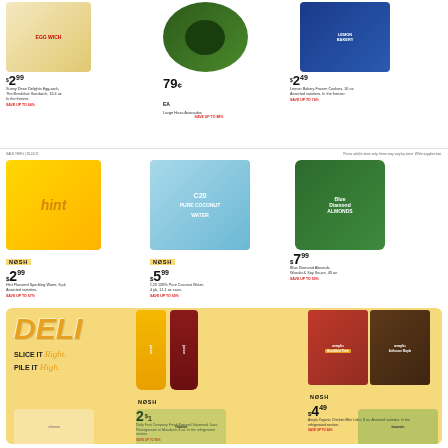$2.99 - Sunny Dean Delights Egg-wich, The Breakfast Sandwich - NOSH - SAVE UP TO 64%
79¢ EA - Large Hass Avocados - SAVE UP TO 88%
$2.49 - Lemon Bakery Frozen Cookies, 16 oz, Assorted varieties, In the freezer - SAVE UP TO 74%
Prices valid in store only. Items may vary by store. While supplies last.
$2.99 - NOSH - Hint Flavored Sparkling Water, 8pk, Assorted varieties - SAVE UP TO 57%
$5.99 - NOSH - C20 100% Pure Coconut Water, 4 pk, 11.1 oz cans - SAVE UP TO 60%
$7.99 - Blue Diamond Almonds, Wasabi & Soy Sauce, 40 oz - SAVE UP TO 50%
DELI
SLICE IT Right. PILE IT High.
NOSH - 2 for $1 - Daily Fruit Company Fresh Pressed Squeezed Juice, Pomegranate or Mandarin, 8 oz. In the refrigerated section. SAVE UP TO 85%
NOSH - $4.49 - Amylu Organic Chicken Mini Links, 8 oz, Assorted varieties. In the refrigerated section. SAVE UP TO 44%